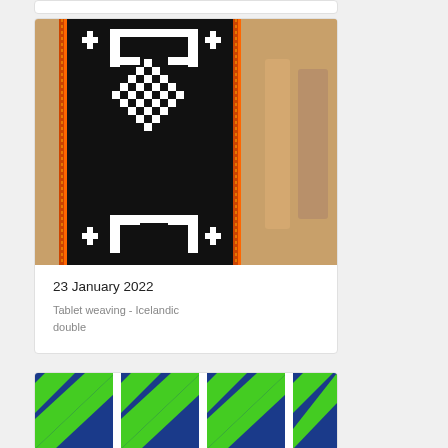[Figure (photo): A tablet weaving band with black and white geometric/Nordic pattern on a wooden loom, with orange-red border stripes. The pattern features a checkered diamond in the center and cross/bracket motifs above and below.]
23 January 2022
Tablet weaving - Icelandic double
[Figure (photo): A tablet weaving band with blue, green, and white geometric pattern. Multiple bands visible showing diagonal and angular designs in bright green and blue colors.]